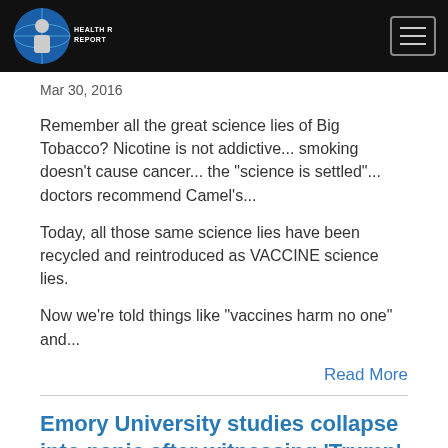Health Ranger Report
Mar 30, 2016
Remember all the great science lies of Big Tobacco? Nicotine is not addictive... smoking doesn't cause cancer... the "science is settled"... doctors recommend Camel's...
Today, all those same science lies have been recycled and reintroduced as VACCINE science lies.
Now we're told things like "vaccines harm no one" and...
Read More
Emory University studies collapse into panic after witnessing 'Trump' written in chalk
[Figure (other): Podcast player card with play button, label THE HEALTH RANGER REPORT, and title Emory University studies collapse into panic ...]